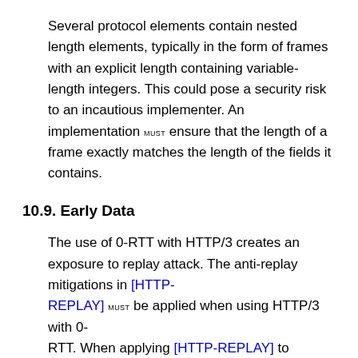Several protocol elements contain nested length elements, typically in the form of frames with an explicit length containing variable-length integers. This could pose a security risk to an incautious implementer. An implementation MUST ensure that the length of a frame exactly matches the length of the fields it contains.
10.9. Early Data
The use of 0-RTT with HTTP/3 creates an exposure to replay attack. The anti-replay mitigations in [HTTP-REPLAY] MUST be applied when using HTTP/3 with 0-RTT. When applying [HTTP-REPLAY] to HTTP/3, references to the TLS layer refer to the handshake performed within QUIC, while all references to application data refer to the contents of streams.
10.10. Migration